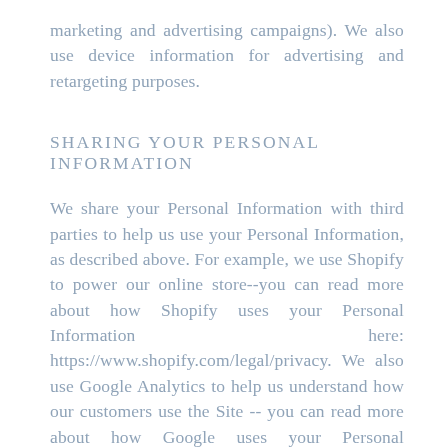marketing and advertising campaigns). We also use device information for advertising and retargeting purposes.
SHARING YOUR PERSONAL INFORMATION
We share your Personal Information with third parties to help us use your Personal Information, as described above. For example, we use Shopify to power our online store--you can read more about how Shopify uses your Personal Information here: https://www.shopify.com/legal/privacy. We also use Google Analytics to help us understand how our customers use the Site -- you can read more about how Google uses your Personal Information here: https://www.google.com/intl/en/policies/privacy/. You can also opt-out of Google Analytics here: https://tools.google.com/dlpage/gaoptout.